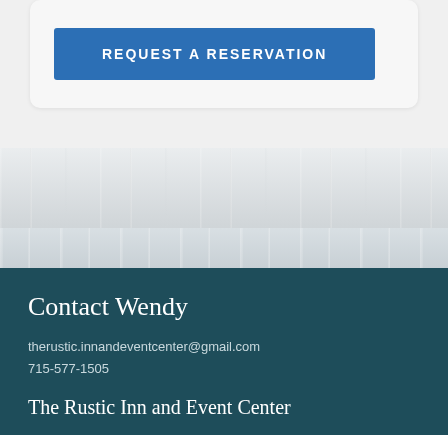REQUEST A RESERVATION
[Figure (photo): Whitewashed wood plank texture background, light gray and white tones]
Contact Wendy
therustic.innandeventcenter@gmail.com
715-577-1505
The Rustic Inn and Event Center